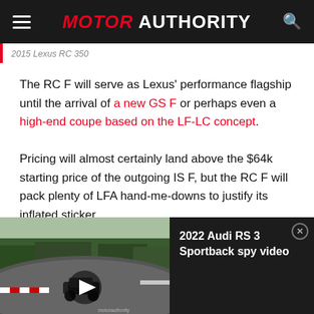MOTOR AUTHORITY
2015 Lexus RC 350
The RC F will serve as Lexus' performance flagship until the arrival of a new GS F or perhaps even a high-end coupe based on the LF-LC concept.
Pricing will almost certainly land above the $64k starting price of the outgoing IS F, but the RC F will pack plenty of LFA hand-me-downs to justify its inflated sticker.
[Figure (screenshot): Video widget showing a car on a race track (Nürburgring) with title '2022 Audi RS 3 Sportback spy video' and a play button overlay. Dark background panel on the right side.]